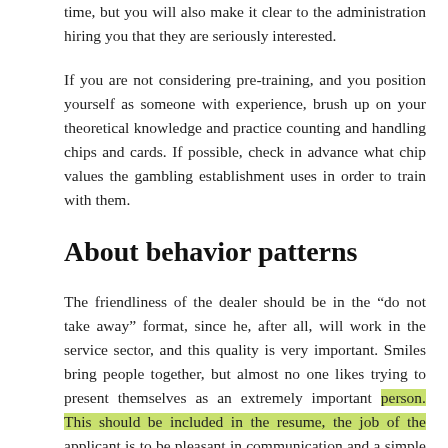time, but you will also make it clear to the administration hiring you that they are seriously interested.
If you are not considering pre-training, and you position yourself as someone with experience, brush up on your theoretical knowledge and practice counting and handling chips and cards. If possible, check in advance what chip values the gambling establishment uses in order to train with them.
About behavior patterns
The friendliness of the dealer should be in the “do not take away” format, since he, after all, will work in the service sector, and this quality is very important. Smiles bring people together, but almost no one likes trying to present themselves as an extremely important person. This should be included in the resume, the job of the applicant is to be pleasant in communication and a simple person.